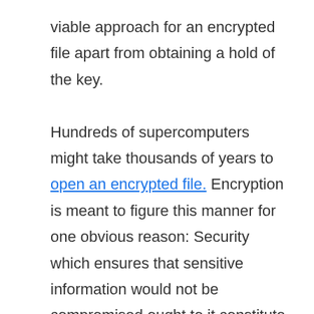viable approach for an encrypted file apart from obtaining a hold of the key.

Hundreds of supercomputers might take thousands of years to open an encrypted file. Encryption is meant to figure this manner for one obvious reason: Security which ensures that sensitive information would not be compromised ought to it constitute the hands of intruders.